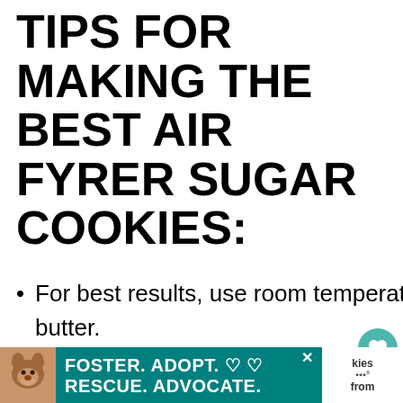TIPS FOR MAKING THE BEST AIR FYRER SUGAR COOKIES:
For best results, use room temperature ingredients, including eggs and butter.
Do not overmix your dough. Otherwise, you will end up with dens cookies.
[Figure (infographic): Advertisement banner at bottom: teal background with dog photo, text FOSTER. ADOPT. RESCUE. ADVOCATE. with heart icons and close button. Right side shows partial text 'kies from' on white background.]